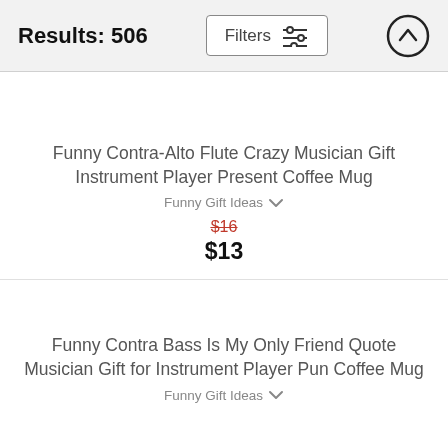Results: 506
Funny Contra-Alto Flute Crazy Musician Gift Instrument Player Present Coffee Mug
Funny Gift Ideas
$16 $13
Funny Contra Bass Is My Only Friend Quote Musician Gift for Instrument Player Pun Coffee Mug
Funny Gift Ideas